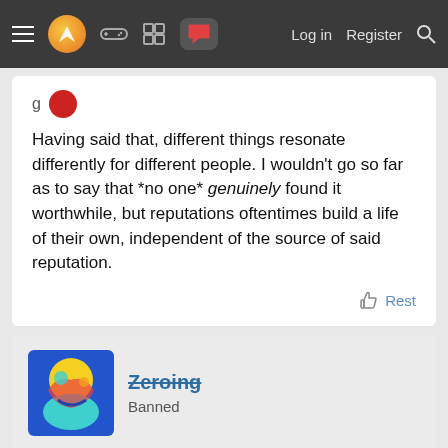Navigation bar with menu, logo, icons, Log in, Register, Search
Having said that, different things resonate differently for different people. I wouldn't go so far as to say that *no one* genuinely found it worthwhile, but reputations oftentimes build a life of their own, independent of the source of said reputation.
Rest
Zeroing
Banned
Apr 16, 2022
Meh, try reading José Saramago books, way better, you feel being tortured but it pays off.